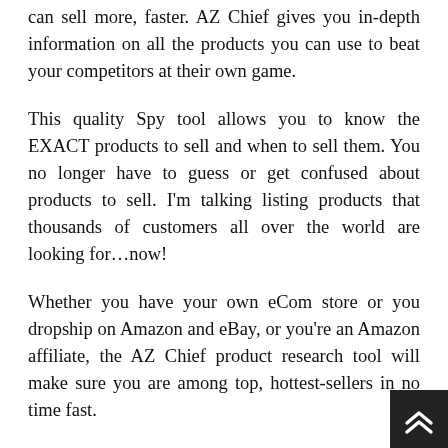can sell more, faster. AZ Chief gives you in-depth information on all the products you can use to beat your competitors at their own game.
This quality Spy tool allows you to know the EXACT products to sell and when to sell them. You no longer have to guess or get confused about products to sell. I'm talking listing products that thousands of customers all over the world are looking for…now!
Whether you have your own eCom store or you dropship on Amazon and eBay, or you're an Amazon affiliate, the AZ Chief product research tool will make sure you are among top, hottest-sellers in no time fast.
Once you activate it, is scours giant e-commerce platforms like Amazon, Aliexpress, Walmart and eBay to show you exactly what to sell and make